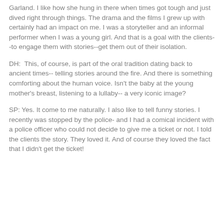Garland. I like how she hung in there when times got tough and just dived right through things. The drama and the films I grew up with certainly had an impact on me. I was a storyteller and an informal performer when I was a young girl. And that is a goal with the clients--to engage them with stories--get them out of their isolation.
DH:  This, of course, is part of the oral tradition dating back to ancient times-- telling stories around the fire. And there is something comforting about the human voice. Isn't the baby at the young mother's breast, listening to a lullaby-- a very iconic image?
SP: Yes. It come to me naturally. I also like to tell funny stories. I recently was stopped by the police- and I had a comical incident with a police officer who could not decide to give me a ticket or not. I told the clients the story. They loved it. And of course they loved the fact that I didn't get the ticket!